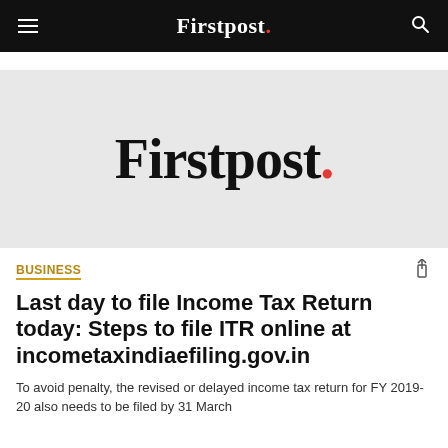Firstpost.
[Figure (logo): Firstpost logo — large bold serif wordmark with a red period, on a light grey background]
BUSINESS
Last day to file Income Tax Return today: Steps to file ITR online at incometaxindiaefiling.gov.in
To avoid penalty, the revised or delayed income tax return for FY 2019-20 also needs to be filed by 31 March